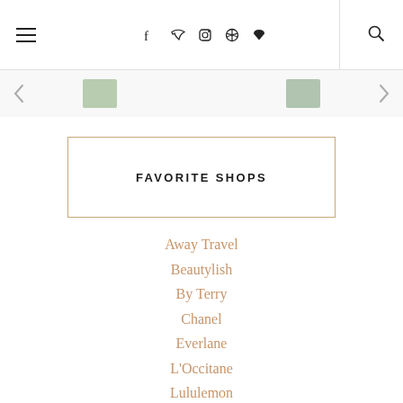navigation bar with hamburger menu, social icons (f, twitter, instagram, pinterest, heart), divider, search icon
[Figure (screenshot): Image strip showing cropped thumbnail images with navigation arrows]
FAVORITE SHOPS
Away Travel
Beautylish
By Terry
Chanel
Everlane
L'Occitane
Lululemon
Neiman Marcus
Nordstrom